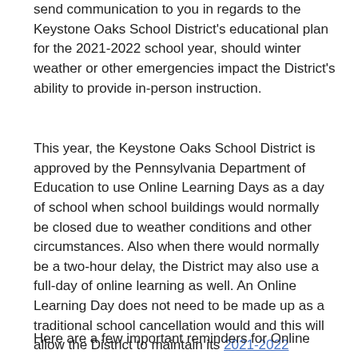send communication to you in regards to the Keystone Oaks School District's educational plan for the 2021-2022 school year, should winter weather or other emergencies impact the District's ability to provide in-person instruction.
This year, the Keystone Oaks School District is approved by the Pennsylvania Department of Education to use Online Learning Days as a day of school when school buildings would normally be closed due to weather conditions and other circumstances. Also when there would normally be a two-hour delay, the District may also use a full-day of online learning as well. An Online Learning Day does not need to be made up as a traditional school cancellation would and this will allow the District to maintain its 2021-2022 Academic Year Calendar.
Here are a few important reminders for Online